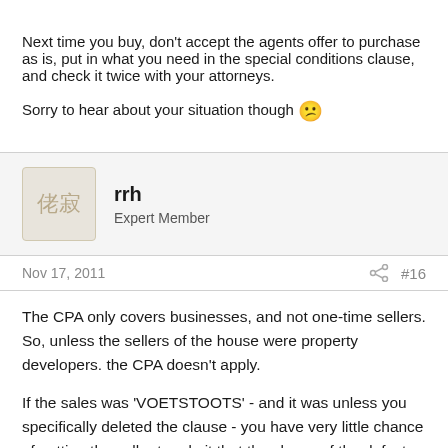Next time you buy, don't accept the agents offer to purchase as is, put in what you need in the special conditions clause, and check it twice with your attorneys.

Sorry to hear about your situation though 😕
rrh
Expert Member
Nov 17, 2011  #16
The CPA only covers businesses, and not one-time sellers. So, unless the sellers of the house were property developers. the CPA doesn't apply.

If the sales was 'VOETSTOOTS' - and it was unless you specifically deleted the clause - you have very little chance of getting the seller to admit that they knew of the defect. They will simply argue that they repaired the cause of the original water damage, and that the current leaks are caused by situations